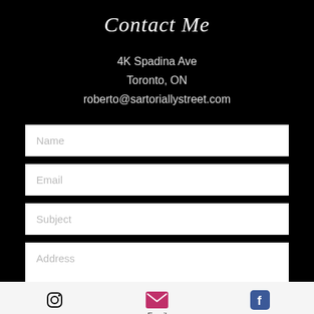Contact Me
4K Spadina Ave
Toronto, ON
roberto@sartoriallystreet.com
[Figure (screenshot): Contact form with fields: Name, Email, Subject, Address]
Instagram   Email   Facebook